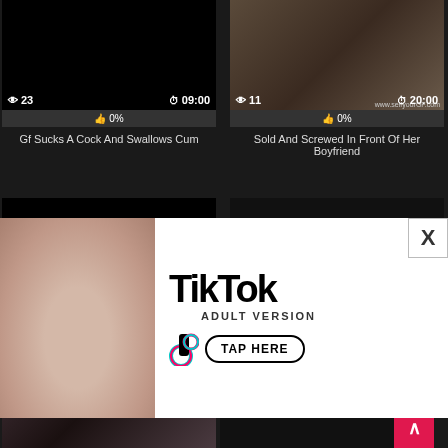[Figure (screenshot): Video thumbnail - black/dark]
👁 23   ⏱09:00
👍 0%
Gf Sucks A Cock And Swallows Cum
[Figure (screenshot): Video thumbnail - couple on couch]
👁 11   ⏱20:00
👍 0%
Sold And Screwed In Front Of Her Boyfriend
[Figure (screenshot): Video thumbnail - dark]
[Figure (screenshot): Video thumbnail - dark]
[Figure (advertisement): TikTok Adult Version advertisement with TAP HERE button]
[Figure (screenshot): Video thumbnail - woman]
[Figure (screenshot): Video thumbnail - dark]